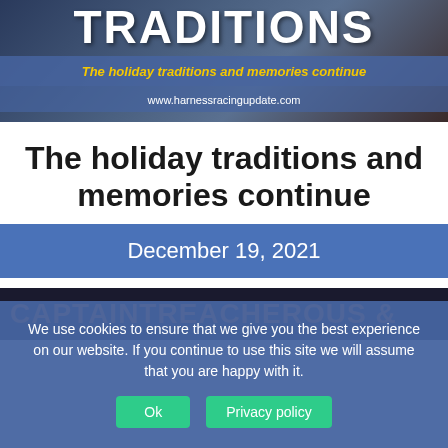[Figure (illustration): Header banner with dark background showing gifts and holiday decorations. Large bold white text reads TRADITIONS. Blue bar with yellow italic text: 'The holiday traditions and memories continue'. Below that: www.harnessracingupdate.com]
The holiday traditions and memories continue
December 19, 2021
[Figure (illustration): Dark navy banner with large bold orange text: CAPTAINTREACHEROUS &]
We use cookies to ensure that we give you the best experience on our website. If you continue to use this site we will assume that you are happy with it.